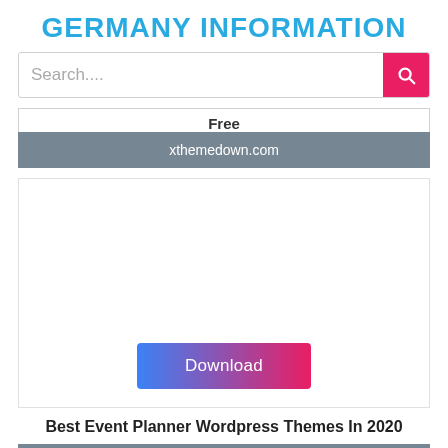GERMANY INFORMATION
Search....
Free
xthemedown.com
[Figure (screenshot): Large white content/ad box with a Download button at the bottom]
Download
Best Event Planner Wordpress Themes In 2020